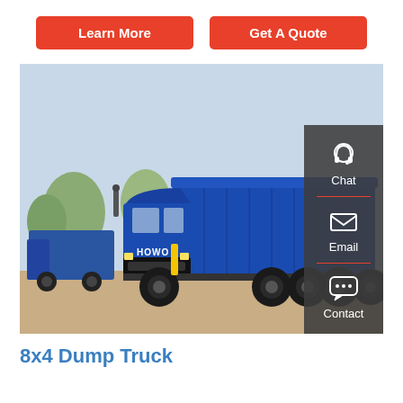Learn More
Get A Quote
[Figure (photo): Blue HOWO 8x4 dump truck parked on a dirt lot with trees in background. A sidebar on the right side of the image shows Chat, Email, and Contact icons on a dark grey background.]
8x4 Dump Truck